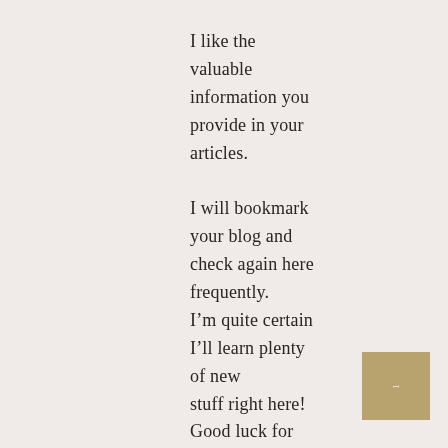I like the valuable information you provide in your articles.

I will bookmark your blog and check again here frequently. I'm quite certain I'll learn plenty of new stuff right here! Good luck for the next!